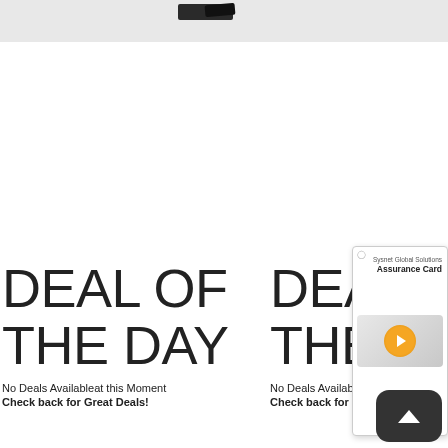[Figure (screenshot): Top partial product image strip showing dark object at top of page]
DEAL OF THE DAY
No Deals Availableat this Moment
Check back for Great Deals!
DEAL OF THE DAY
No Deals Availableat this Moment
Check back for Great Deals!
[Figure (screenshot): Sysnet Global Solutions Assurance Card popup widget with orange arrow button]
[Figure (other): Dark rounded back-to-top button with upward chevron arrow]